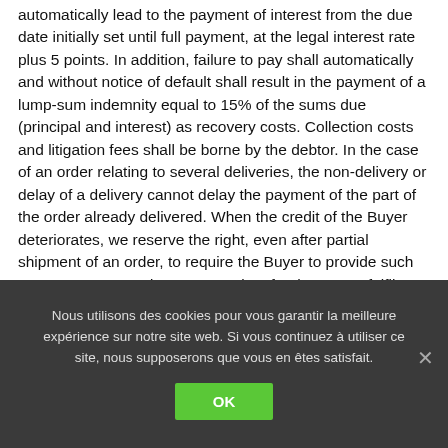automatically lead to the payment of interest from the due date initially set until full payment, at the legal interest rate plus 5 points. In addition, failure to pay shall automatically and without notice of default shall result in the payment of a lump-sum indemnity equal to 15% of the sums due (principal and interest) as recovery costs. Collection costs and litigation fees shall be borne by the debtor. In the case of an order relating to several deliveries, the non-delivery or delay of a delivery cannot delay the payment of the part of the order already delivered. When the credit of the Buyer deteriorates, we reserve the right, even after partial shipment of an order, to require the Buyer to provide such guarantees as we deem appropriate for the proper fulfilment of the commitments. Refusal to do so gives us
Nous utilisons des cookies pour vous garantir la meilleure expérience sur notre site web. Si vous continuez à utiliser ce site, nous supposerons que vous en êtes satisfait.